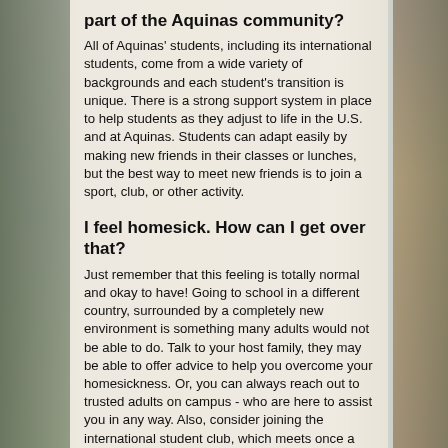part of the Aquinas community?
All of Aquinas' students, including its international students, come from a wide variety of backgrounds and each student's transition is unique. There is a strong support system in place to help students as they adjust to life in the U.S. and at Aquinas. Students can adapt easily by making new friends in their classes or lunches, but the best way to meet new friends is to join a sport, club, or other activity.
I feel homesick. How can I get over that?
Just remember that this feeling is totally normal and okay to have! Going to school in a different country, surrounded by a completely new environment is something many adults would not be able to do. Talk to your host family, they may be able to offer advice to help you overcome your homesickness. Or, you can always reach out to trusted adults on campus - who are here to assist you in any way. Also, consider joining the international student club, which meets once a month after school. This is a good way to overcome